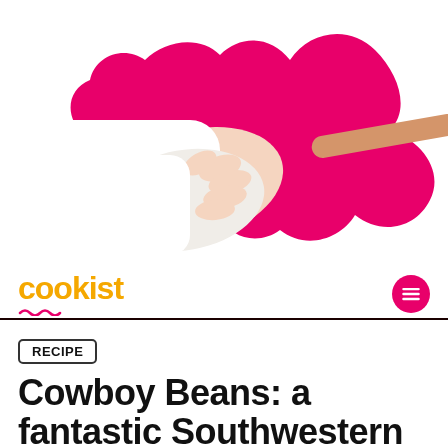[Figure (illustration): A hand in a white sleeve holding a wooden spoon, with a pink wavy decorative shape behind it, on a white background. Cookist brand header image.]
cookist
RECIPE
Cowboy Beans: a fantastic Southwestern side dish to serve at your next BBQ